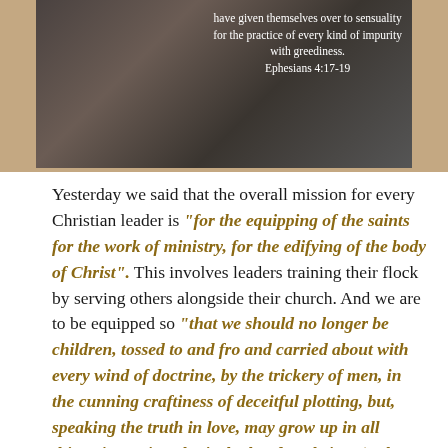[Figure (photo): Dark grayscale photo of hands, with white text overlay quoting Ephesians 4:17-19 about giving themselves over to sensuality for the practice of every kind of impurity with greediness.]
Yesterday we said that the overall mission for every Christian leader is "for the equipping of the saints for the work of ministry, for the edifying of the body of Christ". This involves leaders training their flock by serving others alongside their church. And we are to be equipped so "that we should no longer be children, tossed to and fro and carried about with every wind of doctrine, by the trickery of men, in the cunning craftiness of deceitful plotting, but, speaking the truth in love, may grow up in all things into Him who is the head—Christ" (Eph 4:14-15)